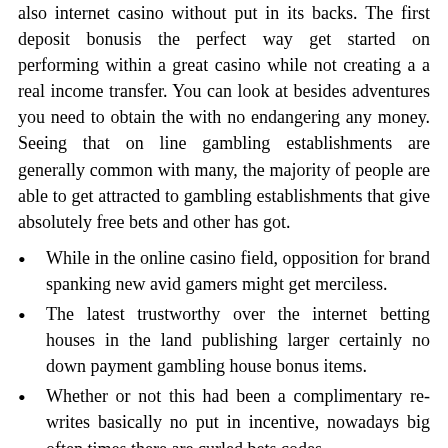also internet casino without put in its backs. The first deposit bonusis the perfect way get started on performing within a great casino while not creating a a real income transfer. You can look at besides adventures you need to obtain the with no endangering any money. Seeing that on line gambling establishments are generally common with many, the majority of people are able to get attracted to gambling establishments that give absolutely free bets and other has got.
While in the online casino field, opposition for brand spanking new avid gamers might get merciless.
The latest trustworthy over the internet betting houses in the land publishing larger certainly no down payment gambling house bonus items.
Whether or not this had been a complimentary re-writes basically no put in incentive, nowadays big often times there are curled bets codes.